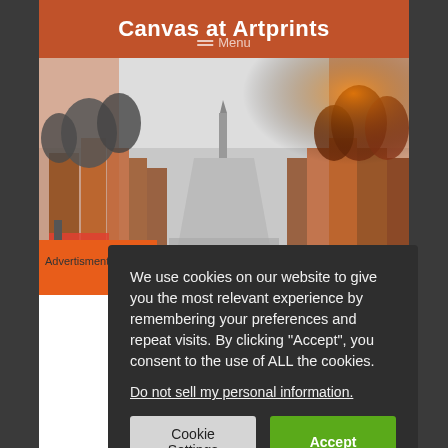Canvas at Artprints
[Figure (photo): Amsterdam canal cityscape photograph with colorful buildings and trees, partially in color with orange/red tones on the edges and grayscale in center]
P
Advertisment
We use cookies on our website to give you the most relevant experience by remembering your preferences and repeat visits. By clicking “Accept”, you consent to the use of ALL the cookies.
Do not sell my personal information.
Cookie Settings
Accept
Privacy Policy